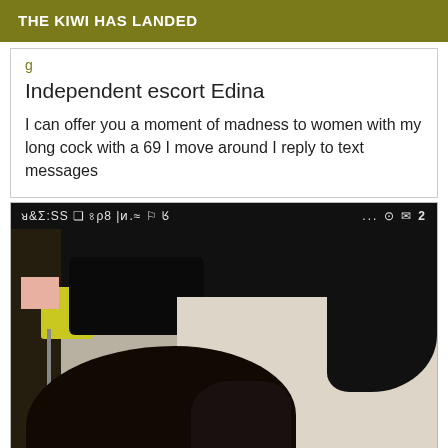THE KIWI HAS LANDED
Independent escort Edina
I can offer you a moment of madness to women with my long cock with a 69 I move around I reply to text messages
[Figure (photo): A photograph shown via a mirrored/flipped smartphone screenshot with status bar showing 22:37, various icons, dark background with person visible]